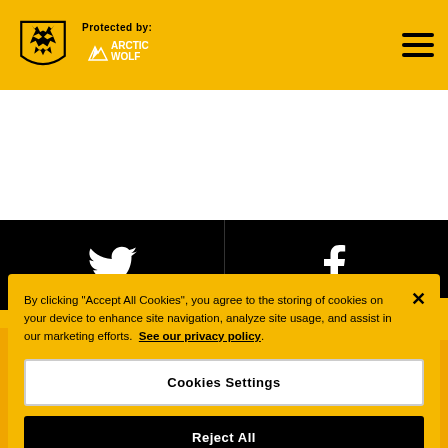Protected by: Arctic Wolf — Wolverhampton Wanderers FC website header with hamburger menu
[Figure (screenshot): Social media bar with Twitter and Facebook icons on black background]
By clicking "Accept All Cookies", you agree to the storing of cookies on your device to enhance site navigation, analyze site usage, and assist in our marketing efforts. See our privacy policy.
Cookies Settings
Reject All
Accept All Cookies